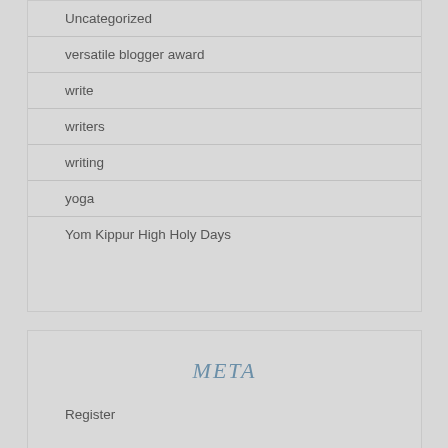Uncategorized
versatile blogger award
write
writers
writing
yoga
Yom Kippur High Holy Days
META
Register